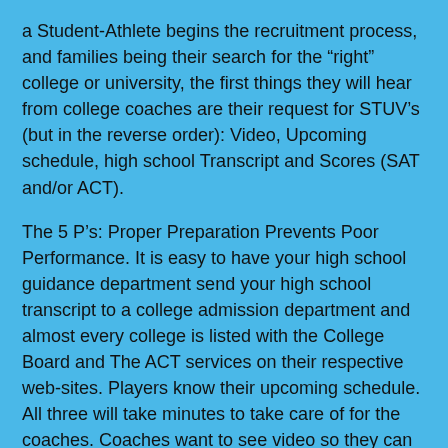a Student-Athlete begins the recruitment process, and families being their search for the “right” college or university, the first things they will hear from college coaches are their request for STUV’s (but in the reverse order): Video, Upcoming schedule, high school Transcript and Scores (SAT and/or ACT).
The 5 P’s: Proper Preparation Prevents Poor Performance. It is easy to have your high school guidance department send your high school transcript to a college admission department and almost every college is listed with the College Board and The ACT services on their respective web-sites. Players know their upcoming schedule. All three will take minutes to take care of for the coaches. Coaches want to see video so they can personally evaluate whether a player is at the level they are looking for. A personal highlight video is a quick tool to capture the coach’s attention and then follow up with full-game video when they have become interested in a player. The mechanics are as simple as that.
Congratulations Class of 2020